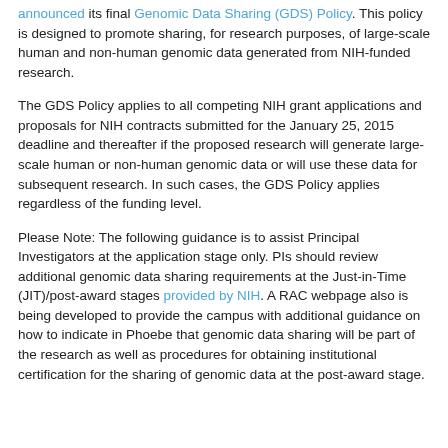announced its final Genomic Data Sharing (GDS) Policy. This policy is designed to promote sharing, for research purposes, of large-scale human and non-human genomic data generated from NIH-funded research.
The GDS Policy applies to all competing NIH grant applications and proposals for NIH contracts submitted for the January 25, 2015 deadline and thereafter if the proposed research will generate large-scale human or non-human genomic data or will use these data for subsequent research. In such cases, the GDS Policy applies regardless of the funding level.
Please Note: The following guidance is to assist Principal Investigators at the application stage only. PIs should review additional genomic data sharing requirements at the Just-in-Time (JIT)/post-award stages provided by NIH. A RAC webpage also is being developed to provide the campus with additional guidance on how to indicate in Phoebe that genomic data sharing will be part of the research as well as procedures for obtaining institutional certification for the sharing of genomic data at the post-award stage.